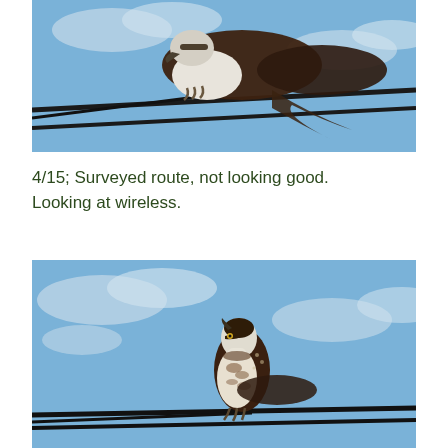[Figure (photo): Close-up photograph of an osprey bird perched on black cables/wires against a blue sky with light clouds. The bird is seen from below/side, showing its dark brown and white plumage, talons gripping the cable.]
4/15; Surveyed route, not looking good. Looking at wireless.
[Figure (photo): Photograph of an osprey bird perched on black cables/wires against a blue sky with light clouds. The bird is facing upward/left, showing its white chest with brown speckled markings and dark brown back.]